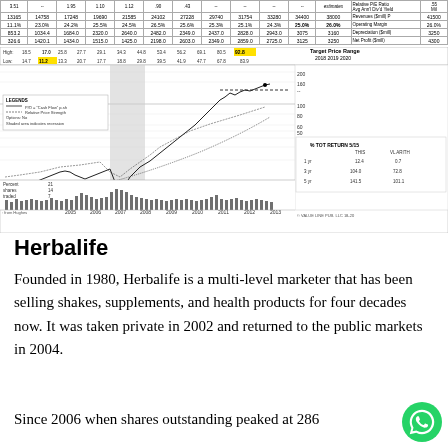|  |  |  |  |  |  |  |  |  |  |  | estimates | Relative P/E Ratio / Avg Ann'l Div'd Yield | Mil |
| --- | --- | --- | --- | --- | --- | --- | --- | --- | --- | --- | --- | --- | --- |
| 13165 | 14758 | 17248 | 19690 | 21585 | 24102 | 27228 | 29740 | 31754 | 33280 | 34400 | 38000 | Revenues ($mill) P | 41500 |
| 11.1% | 23.0% | 24.2% | 25.5% | 24.5% | 26.5% | 25.6% | 25.3% | 25.1% | 24.3% | 25.0% | 26.0% | Operating Margin | 26.0% |
| 853.2 | 1034.4 | 1684.0 | 2320.0 | 2640.0 | 2482.0 | 2349.0 | 2437.0 | 2828.0 | 2943.0 | 3075 | 3160 | Depreciation ($mill) | 3250 |
| 326.6 | 1420.1 | 1434.0 | 1515.0 | 1425.0 | 2198.0 | 2603.0 | 2349.0 | 2859.0 | 2725.0 | 3125 | 3250 | Net Profit ($mill) | 4300 |
[Figure (continuous-plot): Value Line stock chart for Herbalife showing price history from 2005 to 2016 with target price range 2018-2020. Chart includes legends for cash flow, relative price strength, options, and shaded recession area. Shows % total return 5/15 with TIHS stock and VLARITH values: 1yr 12.4/0.7, 3yr 104.0/72.8, 5yr 141.5/101.1. High/Low price bar at top showing values from 14.7 to 92.8.]
Herbalife
Founded in 1980, Herbalife is a multi-level marketer that has been selling shakes, supplements, and health products for four decades now. It was taken private in 2002 and returned to the public markets in 2004.
Since 2006 when shares outstanding peaked at 286